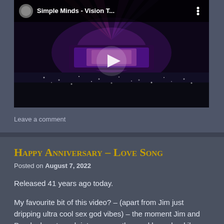[Figure (screenshot): YouTube video thumbnail showing Simple Minds concert with title 'Simple Minds - Vision T...' and a play button overlay, large crowd visible]
Leave a comment
Happy Anniversary – Love Song
Posted on August 7, 2022
Released 41 years ago today.
My favourite bit of this video? – (apart from Jim just dripping ultra cool sex god vibes) – the moment Jim and Derek almost crash into one another and how cheekily...